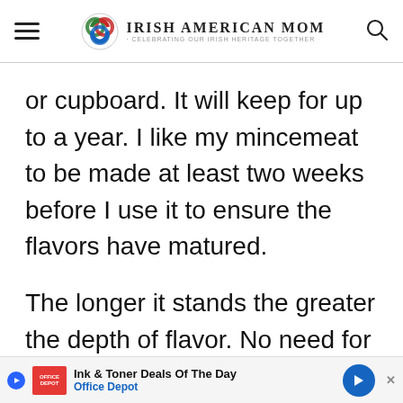Irish American Mom - Celebrating Our Irish Heritage Together
or cupboard. It will keep for up to a year. I like my mincemeat to be made at least two weeks before I use it to ensure the flavors have matured.
The longer it stands the greater the depth of flavor. No need for a free
[Figure (other): Office Depot advertisement banner: Ink & Toner Deals Of The Day - Office Depot, with red Office Depot logo, blue play button, and blue directional arrow icon]